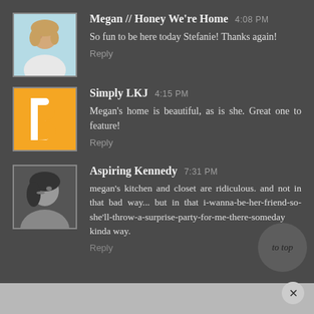Megan // Honey We're Home 4:08 PM
So fun to be here today Stefanie! Thanks again!
Reply
Simply LKJ 4:15 PM
Megan's home is beautiful, as is she. Great one to feature!
Reply
Aspiring Kennedy 7:31 PM
megan's kitchen and closet are ridiculous. and not in that bad way... but in that i-wanna-be-her-friend-so-she'll-throw-a-surprise-party-for-me-there-someday kinda way.
Reply